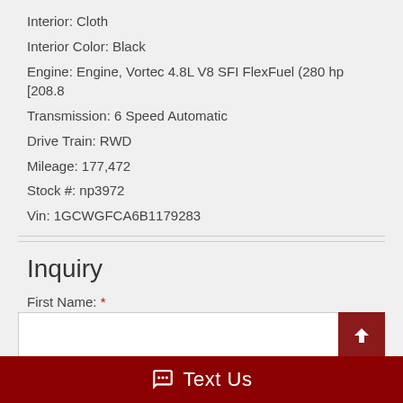Interior: Cloth
Interior Color: Black
Engine: Engine, Vortec 4.8L V8 SFI FlexFuel (280 hp [208.8
Transmission: 6 Speed Automatic
Drive Train: RWD
Mileage: 177,472
Stock #: np3972
Vin: 1GCWGFCA6B1179283
Inquiry
First Name: *
Last Name: *
Text Us